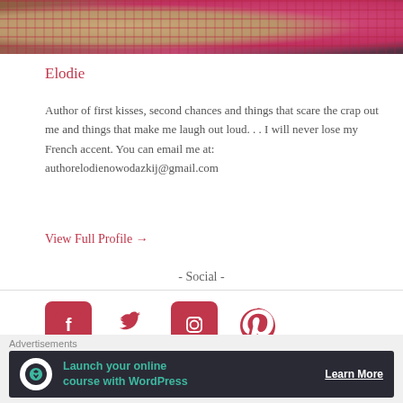[Figure (photo): Photo strip at top showing a person in a plaid shirt with a cat or animal]
Elodie
Author of first kisses, second chances and things that scare the crap out me and things that make me laugh out loud. . . I will never lose my French accent. You can email me at: authorelodienowodazkij@gmail.com
View Full Profile →
- Social -
[Figure (illustration): Social media icons: Facebook, Twitter, Instagram, Pinterest]
Advertisements
[Figure (illustration): Advertisement banner: Launch your online course with WordPress - Learn More]